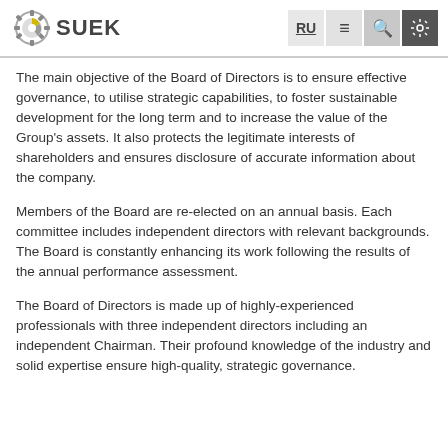SUEK — navigation header with logo, RU language toggle, menu, search, and settings icons
The main objective of the Board of Directors is to ensure effective governance, to utilise strategic capabilities, to foster sustainable development for the long term and to increase the value of the Group's assets. It also protects the legitimate interests of shareholders and ensures disclosure of accurate information about the company.
Members of the Board are re-elected on an annual basis. Each committee includes independent directors with relevant backgrounds. The Board is constantly enhancing its work following the results of the annual performance assessment.
The Board of Directors is made up of highly-experienced professionals with three independent directors including an independent Chairman. Their profound knowledge of the industry and solid expertise ensure high-quality, strategic governance.